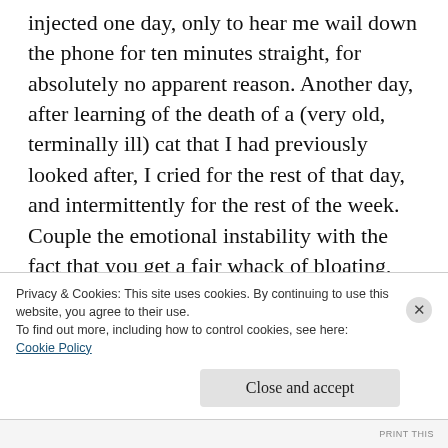injected one day, only to hear me wail down the phone for ten minutes straight, for absolutely no apparent reason. Another day, after learning of the death of a (very old, terminally ill) cat that I had previously looked after, I cried for the rest of that day, and intermittently for the rest of the week. Couple the emotional instability with the fact that you get a fair whack of bloating, breast tenderness and general premenstrual funk, it's fair to say you won't be rushing out to put on a designer frock
Privacy & Cookies: This site uses cookies. By continuing to use this website, you agree to their use.
To find out more, including how to control cookies, see here:
Cookie Policy
Close and accept